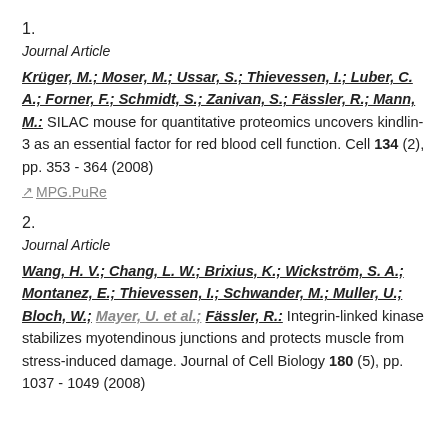1.
Journal Article
Krüger, M.; Moser, M.; Ussar, S.; Thievessen, I.; Luber, C. A.; Forner, F.; Schmidt, S.; Zanivan, S.; Fässler, R.; Mann, M.: SILAC mouse for quantitative proteomics uncovers kindlin-3 as an essential factor for red blood cell function. Cell 134 (2), pp. 353 - 364 (2008)
⊙ MPG.PuRe
2.
Journal Article
Wang, H. V.; Chang, L. W.; Brixius, K.; Wickström, S. A.; Montanez, E.; Thievessen, I.; Schwander, M.; Muller, U.; Bloch, W.; Mayer, U. et al.; Fässler, R.: Integrin-linked kinase stabilizes myotendinous junctions and protects muscle from stress-induced damage. Journal of Cell Biology 180 (5), pp. 1037 - 1049 (2008)